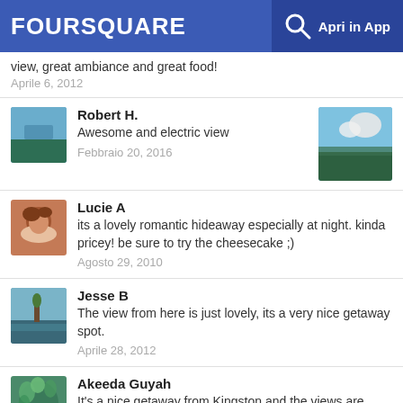FOURSQUARE  Apri in App
view, great ambiance and great food!
Aprile 6, 2012
Robert H.
Awesome and electric view
Febbraio 20, 2016
Lucie A
its a lovely romantic hideaway especially at night. kinda pricey! be sure to try the cheesecake ;)
Agosto 29, 2010
Jesse B
The view from here is just lovely, its a very nice getaway spot.
Aprile 28, 2012
Akeeda Guyah
It's a nice getaway from Kingston and the views are spectacular but the food wasn't that's good for the money we paid.
Ottobre 25, 2017